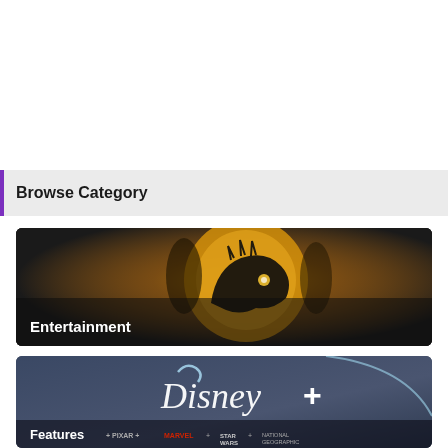Browse Category
[Figure (screenshot): Entertainment category card with a movie poster background showing characters and a dinosaur skull glow, labeled 'Entertainment' at bottom left]
[Figure (screenshot): Disney+ category card with Disney+ logo in white on a blue-grey gradient background, labeled 'Features' at bottom left with partner brand logos (PIXAR, MARVEL, STAR WARS, NATIONAL GEOGRAPHIC)]